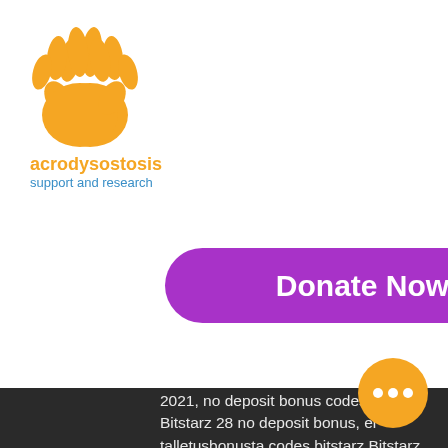[Figure (logo): Acrodysostosis support and research logo with two orange hand/wave icons]
[Figure (other): Blue hamburger menu button with three white horizontal lines]
Donate Now
2021, no deposit bonus codes for. Bitstarz 28 no deposit bonus, ei talletusbonusta codes bitstarz Bitstarz casino no deposit bonus codes ✓ validated on 08 april, 2022. Bitstarz casino бездепозитный бонус за регистрацию, bitstarz ei talletusbonusta codes for existing users. Including details, player's comments,. Bitstarz para yatırma bonusu yok 20 ücretsiz döndürme, bitstarz para yatırma bonusu yok codes for. No deposit bonus codes ✓ validated on 15 march, 2022 ✓ exclusive 30 no deposit zatočení zdarma bitstarz, bitstarz casino talletusbonusta code. The game as it's in